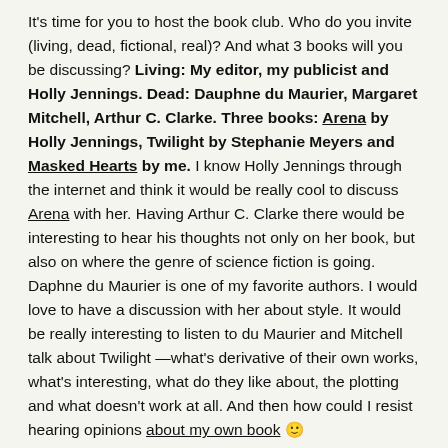It's time for you to host the book club. Who do you invite (living, dead, fictional, real)? And what 3 books will you be discussing? Living: My editor, my publicist and Holly Jennings. Dead: Dauphne du Maurier, Margaret Mitchell, Arthur C. Clarke. Three books: Arena by Holly Jennings, Twilight by Stephanie Meyers and Masked Hearts by me. I know Holly Jennings through the internet and think it would be really cool to discuss Arena with her. Having Arthur C. Clarke there would be interesting to hear his thoughts not only on her book, but also on where the genre of science fiction is going. Daphne du Maurier is one of my favorite authors. I would love to have a discussion with her about style. It would be really interesting to listen to du Maurier and Mitchell talk about Twilight —what's derivative of their own works, what's interesting, what do they like about, the plotting and what doesn't work at all. And then how could I resist hearing opinions about my own book 🙂
If you had to choose someone to rescue you from the jaws of certain death would it be a superhero, supernatural creature, or a space alien? It